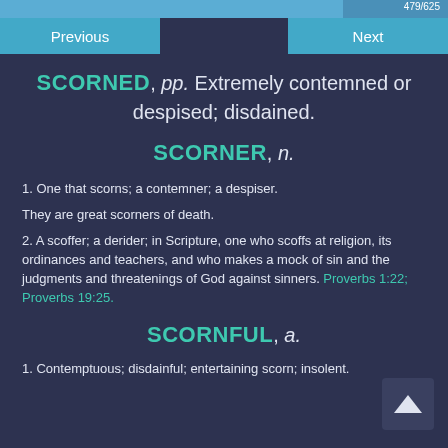479/625
SCORNED, pp. Extremely contemned or despised; disdained.
SCORNER, n.
1. One that scorns; a contemner; a despiser.
They are great scorners of death.
2. A scoffer; a derider; in Scripture, one who scoffs at religion, its ordinances and teachers, and who makes a mock of sin and the judgments and threatenings of God against sinners. Proverbs 1:22; Proverbs 19:25.
SCORNFUL, a.
1. Contemptuous; disdainful; entertaining scorn; insolent.